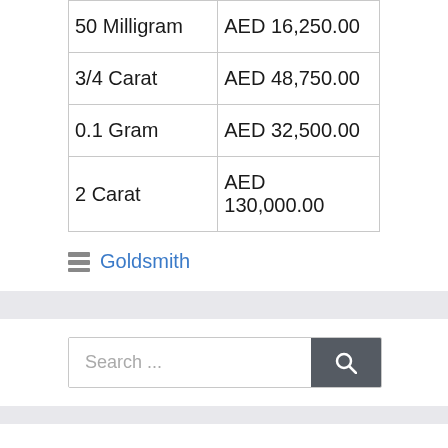| 50 Milligram | AED 16,250.00 |
| 3/4 Carat | AED 48,750.00 |
| 0.1 Gram | AED 32,500.00 |
| 2 Carat | AED 130,000.00 |
Goldsmith
Search ...
From me